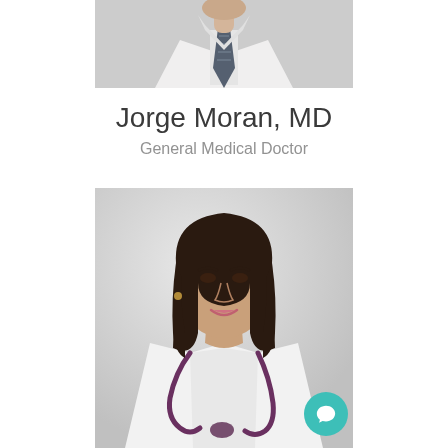[Figure (photo): Partial photo of a male doctor in white coat with blue-gray patterned tie, cropped at upper body, light gray background]
Jorge Moran, MD
General Medical Doctor
[Figure (photo): Professional photo of a female doctor with long dark brown hair, wearing a white coat and purple stethoscope, smiling, light gray background]